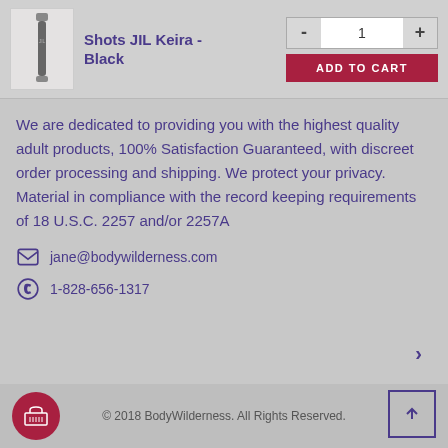[Figure (photo): Product image of Shots JIL Keira in Black]
Shots JIL Keira - Black
We are dedicated to providing you with the highest quality adult products, 100% Satisfaction Guaranteed, with discreet order processing and shipping. We protect your privacy. Material in compliance with the record keeping requirements of 18 U.S.C. 2257 and/or 2257A
jane@bodywilderness.com
1-828-656-1317
© 2018 BodyWilderness. All Rights Reserved.